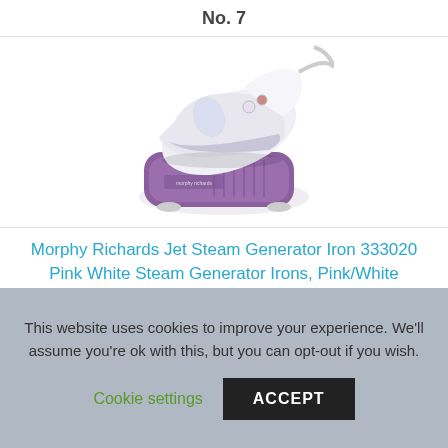No. 7
[Figure (photo): Morphy Richards steam generator iron, white and purple color, sitting on its base station]
Morphy Richards Jet Steam Generator Iron 333020 Pink White Steam Generator Irons, Pink/White
See Today's Price
This website uses cookies to improve your experience. We'll assume you're ok with this, but you can opt-out if you wish.
Cookie settings
ACCEPT